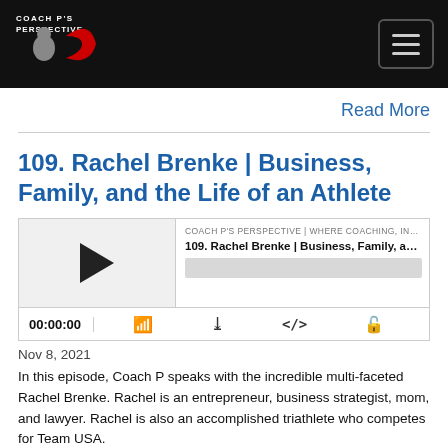COACH P'S PERSPECTIVE
Read More
109. Rachel Brenke | Business, Family, and the Life of an Athlete
[Figure (other): Podcast audio player widget showing episode '109. Rachel Brenke | Business, Family, and th...' from 'COACH P'S PERSPECTIVE | WHERE COACHING, INSPIRATION, ANI' with play button, progress bar, time 00:00:00, and controls for cast, download, embed, and share]
Nov 8, 2021
In this episode, Coach P speaks with the incredible multi-faceted Rachel Brenke. Rachel is an entrepreneur, business strategist, mom, and lawyer. Rachel is also an accomplished triathlete who competes for Team USA.
During the conversation, Rachel shares her background, surviving a bout with cancer, and leaving corporate...